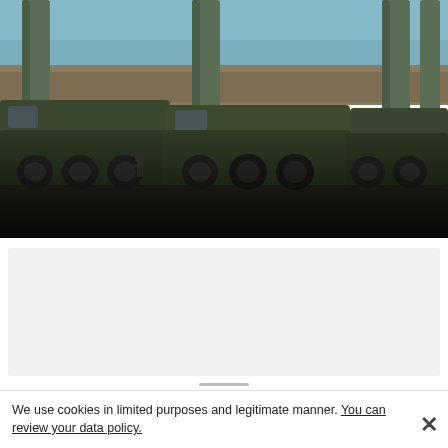[Figure (photo): Military vehicles with S-400 missile launchers in a field setting. Large green military trucks with missile launch tubes visible against a grey sky and earthen berm background.]
US seeks Turkish cooperation to upgrade air defenses instead of Russian S-400s
[Figure (other): Light gray card/advertisement placeholder area below the main article image]
We use cookies in limited purposes and legitimate manner. You can review your data policy.